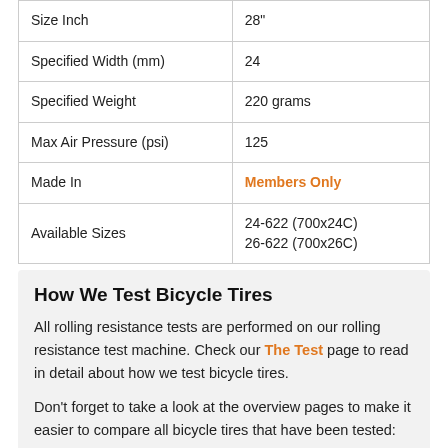| Attribute | Value |
| --- | --- |
| Size Inch | 28" |
| Specified Width (mm) | 24 |
| Specified Weight | 220 grams |
| Max Air Pressure (psi) | 125 |
| Made In | Members Only |
| Available Sizes | 24-622 (700x24C)
26-622 (700x26C) |
How We Test Bicycle Tires
All rolling resistance tests are performed on our rolling resistance test machine. Check our The Test page to read in detail about how we test bicycle tires.
Don't forget to take a look at the overview pages to make it easier to compare all bicycle tires that have been tested: